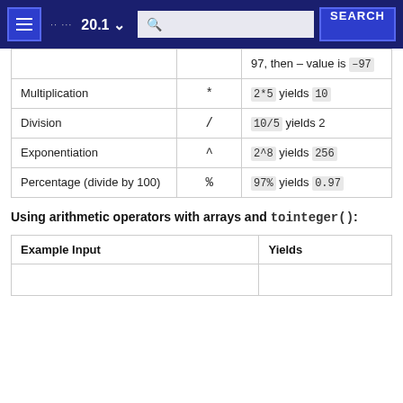20.1
| Operation | Symbol | Example |
| --- | --- | --- |
|  |  | 97, then – value is –97 |
| Multiplication | * | 2*5 yields 10 |
| Division | / | 10/5 yields 2 |
| Exponentiation | ^ | 2^8 yields 256 |
| Percentage (divide by 100) | % | 97% yields 0.97 |
Using arithmetic operators with arrays and tointeger():
| Example Input | Yields |
| --- | --- |